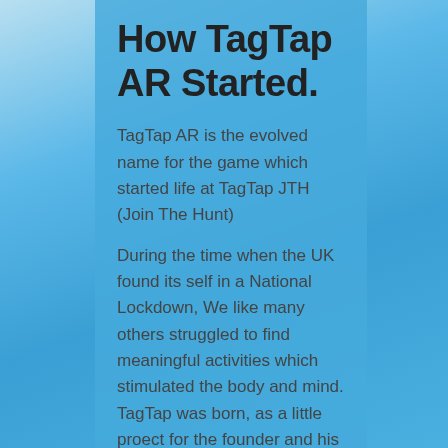How TagTap AR Started.
TagTap AR is the evolved name for the game which started life at TagTap JTH (Join The Hunt)
During the time when the UK found its self in a National Lockdown, We like many others struggled to find meaningful activities which stimulated the body and mind. TagTap was born, as a little proect for the founder and his children, They took inspiration from previous...